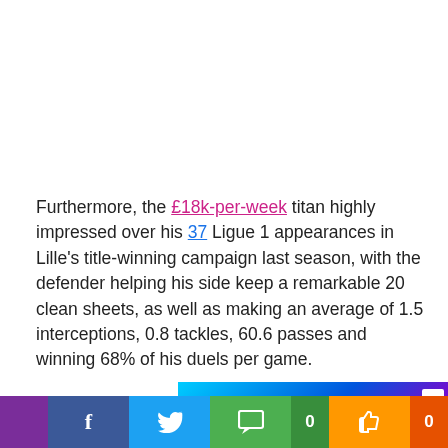Furthermore, the £18k-per-week titan highly impressed over his 37 Ligue 1 appearances in Lille's title-winning campaign last season, with the defender helping his side keep a remarkable 20 clean sheets, as well as making an average of 1.5 interceptions, 0.8 tackles, 60.6 passes and winning 68% of his duels per game.
[Figure (screenshot): Partial advertisement banner with blue/purple gradient, and a video popup showing 'GALACTICOS' and 'GOATS' labels with a man's photo and text 'Beckham's Galacticos, Messi vs Ronaldo and more | How England fell in']
[Figure (screenshot): Social sharing bar with purple, Facebook (blue), Twitter (blue), comment (green with 0 count), like/thumbs up (orange with 0 count) buttons]